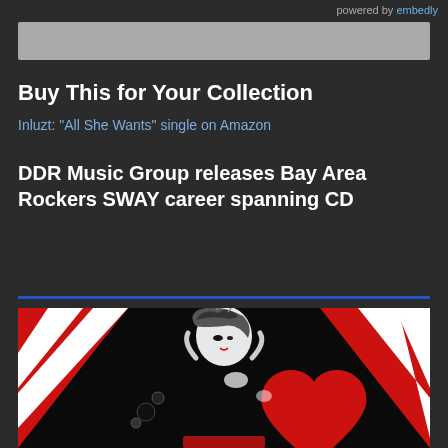powered by embedly
Buy This for Your Collection
Inluzt: "All She Wants" single on Amazon
DDR Music Group releases Bay Area Rockers SWAY career spanning CD
[Figure (illustration): Album cover art for SWAY by DDR Music Group. Black, white, and red graphic illustration featuring a woman in a jester hat with a large red heart and stylized decorative elements.]